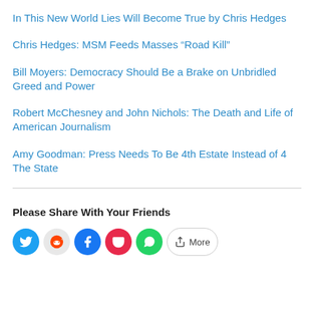In This New World Lies Will Become True by Chris Hedges
Chris Hedges: MSM Feeds Masses “Road Kill”
Bill Moyers: Democracy Should Be a Brake on Unbridled Greed and Power
Robert McChesney and John Nichols: The Death and Life of American Journalism
Amy Goodman: Press Needs To Be 4th Estate Instead of 4 The State
Please Share With Your Friends
[Figure (other): Social share buttons: Twitter, Reddit, Facebook, Pocket, WhatsApp, More]